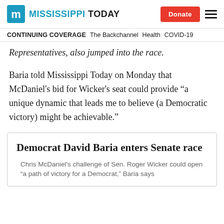Mississippi Today — Donate
CONTINUING COVERAGE   The Backchannel   Health   COVID-19
Representatives, also jumped into the race.
Baria told Mississippi Today on Monday that McDaniel's bid for Wicker's seat could provide “a unique dynamic that leads me to believe (a Democratic victory) might be achievable.”
Democrat David Baria enters Senate race
Chris McDaniel's challenge of Sen. Roger Wicker could open "a path of victory for a Democrat," Baria says